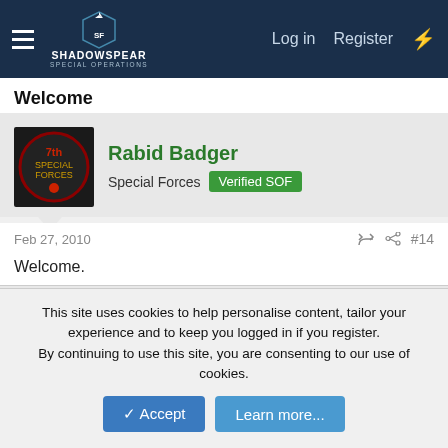ShadowSpear Special Operations — Log in | Register
Welcome
Rabid Badger — Special Forces — Verified SOF
Feb 27, 2010  #14
Welcome.
LibraryLady — Verified Military
Mar 1, 2010  #15
This site uses cookies to help personalise content, tailor your experience and to keep you logged in if you register. By continuing to use this site, you are consenting to our use of cookies.